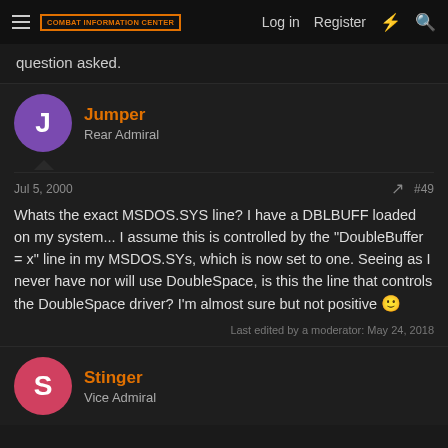Combat Information Center | Log in | Register
question asked.
Jumper
Rear Admiral
Jul 5, 2000  #49
Whats the exact MSDOS.SYS line? I have a DBLBUFF loaded on my system... I assume this is controlled by the "DoubleBuffer = x" line in my MSDOS.SYs, which is now set to one. Seeing as I never have nor will use DoubleSpace, is this the line that controls the DoubleSpace driver? I'm almost sure but not positive 🙂
Last edited by a moderator: May 24, 2018
Stinger
Vice Admiral